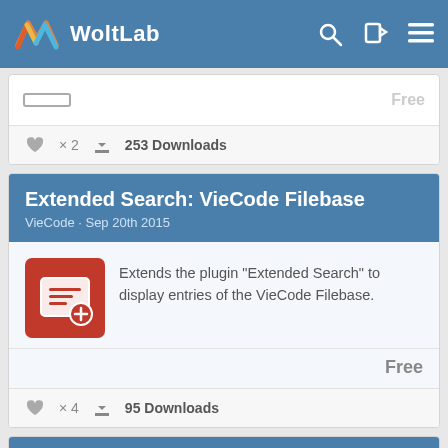WoltLab
× 2   253 Downloads
Extended Search: VieCode Filebase
VieCode · Sep 20th 2015
Extends the plugin "Extended Search" to display entries of the VieCode Filebase.
Free
× 4   95 Downloads
Extended Search: Filebase-Files
Darkwood.Design · Sep 28th 2015